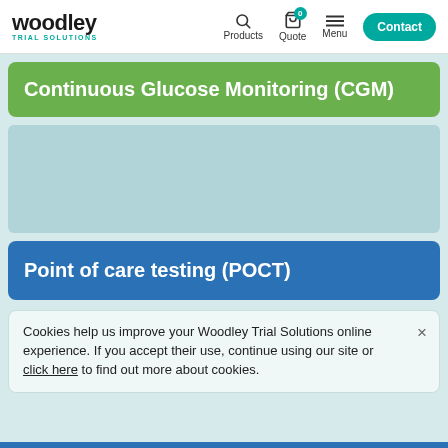woodley TRIAL SOLUTIONS | Products | Quote | Menu | Contact
Continuous Glucose Monitoring (CGM)
[Figure (photo): Light teal/blue image placeholder area for CGM product image]
Point of care testing (POCT)
Cookies help us improve your Woodley Trial Solutions online experience. If you accept their use, continue using our site or click here to find out more about cookies.